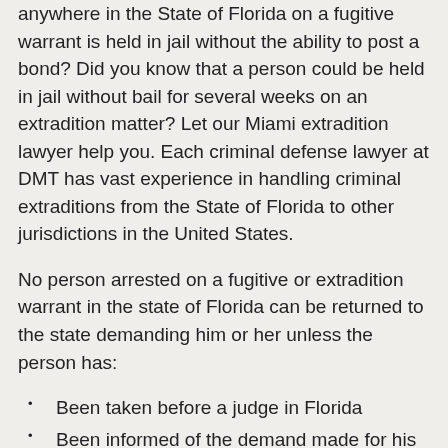anywhere in the State of Florida on a fugitive warrant is held in jail without the ability to post a bond? Did you know that a person could be held in jail without bail for several weeks on an extradition matter? Let our Miami extradition lawyer help you. Each criminal defense lawyer at DMT has vast experience in handling criminal extraditions from the State of Florida to other jurisdictions in the United States.
No person arrested on a fugitive or extradition warrant in the state of Florida can be returned to the state demanding him or her unless the person has:
Been taken before a judge in Florida
Been informed of the demand made for his or her surrender
Been informed of the crime with which he/she is charged
Been given the opportunity to see a criminal extradition attorney
Been given an opportunity for his/her extradition